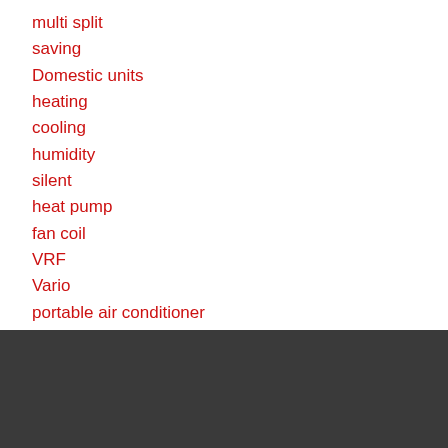multi split
saving
Domestic units
heating
cooling
humidity
silent
heat pump
fan coil
VRF
Vario
portable air conditioner
Vam
[Figure (logo): Inventor brand logo with red sphere icon and white 'inventor' text on dark background]
Thoukididou 2